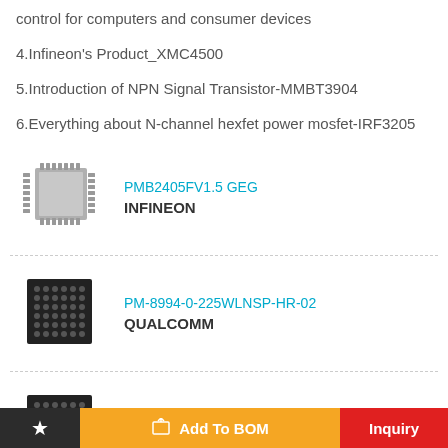control for computers and consumer devices
4.Infineon's Product_XMC4500
5.Introduction of NPN Signal Transistor-MMBT3904
6.Everything about N-channel hexfet power mosfet-IRF3205
[Figure (photo): IC chip photo - PMB2405FV1.5 GEG by INFINEON, QFP package]
PMB2405FV1.5 GEG
INFINEON
[Figure (photo): IC chip photo - PM-8994-0-225WLNSP-HR-02 by QUALCOMM, BGA package]
PM-8994-0-225WLNSP-HR-02
QUALCOMM
[Figure (photo): IC chip photo - PM8994-0-225WLNSP-TR-02-0 by QUALCOMM, BGA package]
PM8994-0-225WLNSP-TR-02-0
QUALCOMM